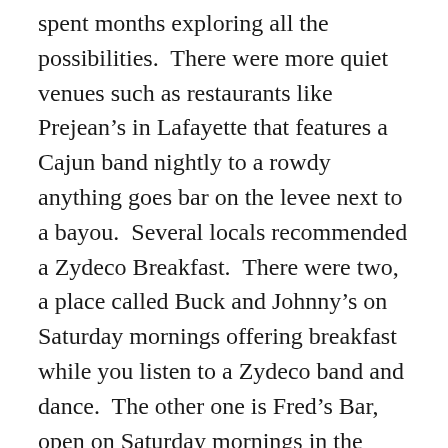spent months exploring all the possibilities. There were more quiet venues such as restaurants like Prejean's in Lafayette that features a Cajun band nightly to a rowdy anything goes bar on the levee next to a bayou. Several locals recommended a Zydeco Breakfast. There were two, a place called Buck and Johnny's on Saturday mornings offering breakfast while you listen to a Zydeco band and dance. The other one is Fred's Bar, open on Saturday mornings in the small town of Mamou and serving up only alcohol with the music. I found out about Fred's too late for us to plan to go – but Mark and I are not early risers and these places fill up with people early in the morning.